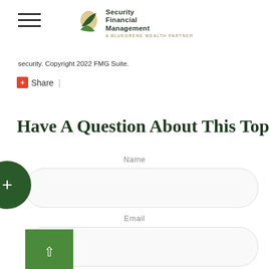Security Financial Management — A Bluegrene Wealth Partner
security. Copyright 2022 FMG Suite.
Share |
Have A Question About This Topic?
Name
Email
Message